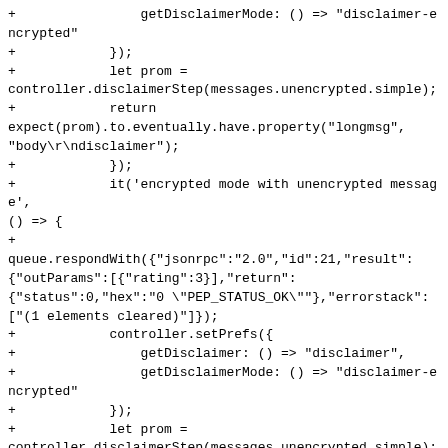+                getDisclaimerMode: () => "disclaimer-encrypted"
+            });
+            let prom =
controller.disclaimerStep(messages.unencrypted.simple);
+            return
expect(prom).to.eventually.have.property("longmsg",
"body\r\ndisclaimer");
+            });
+            it('encrypted mode with unencrypted message',
() => {
+
queue.respondWith({"jsonrpc":"2.0","id":21,"result":
{"outParams":[{"rating":3}],"return":
{"status":0,"hex":"0 \"PEP_STATUS_OK\""},"errorstack":
["(1 elements cleared)"]});
+            controller.setPrefs({
+                getDisclaimer: () => "disclaimer",
+                getDisclaimerMode: () => "disclaimer-encrypted"
+            });
+            let prom =
controller.disclaimerStep(messages.unencrypted.simple);
+            return
expect(prom).to.eventually.have.property("longmsg",
"body");
+            });
+            it('none mode', () => {
+            controller.setPrefs({
+                getDisclaimer: () => "disclaimer",